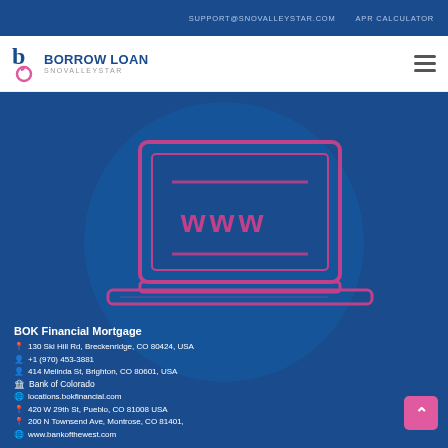SUPPORT@SNOVALLEYSTAR.COM   APR CALCULATOR
[Figure (logo): Borrow Loan SnovalleyStar logo with stylized 'b' icon in pink/blue]
[Figure (illustration): Blue background with laptop illustration showing 'www' on screen, overlaid with BOK Financial Mortgage location and contact info]
BOK Financial Mortgage
130 Ski Hill Rd, Breckenridge, CO 80424, USA
+1 (970) 453-3881
Bank of Colorado
locations.bokfinancial.com
420 W 29th St, Pueblo, CO 81008 USA
200 N Townsend Ave, Montrose, CO 81401,
www.bankofthewest.com
414 Melinda St, Brighton, CO 80601, USA